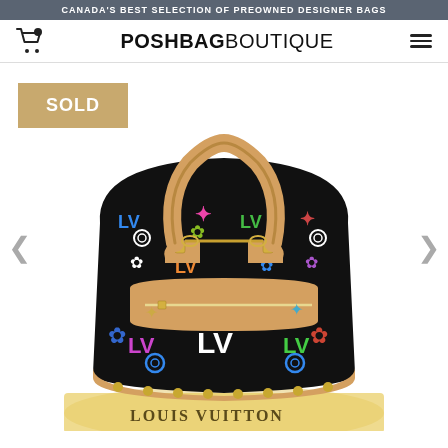CANADA'S BEST SELECTION OF PREOWNED DESIGNER BAGS
POSHBAGBOUTIQUE
[Figure (photo): Louis Vuitton multicolor black Alma handbag with tan leather handles and trim, gold studs, multicolor LV monogram canvas, displayed on a yellow Louis Vuitton dust bag. A 'SOLD' badge appears in the top left corner.]